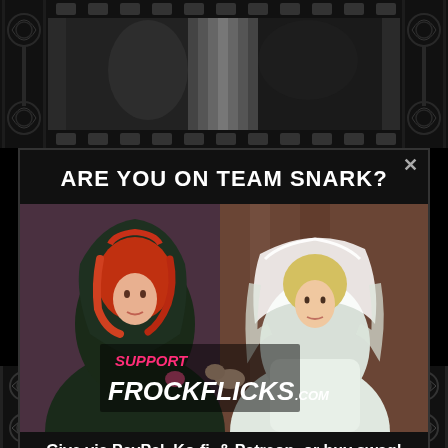[Figure (illustration): Top film strip / background with decorative ornamental side panels in black and a greyscale film scene center]
ARE YOU ON TEAM SNARK?
[Figure (photo): A colorized vintage movie scene showing two women in period costume — one with red hair in a dark hooded cape, one blonde wearing a white bridal veil — with overlaid text 'SUPPORT FROCKFLICKS.COM']
Give via PayPal, Ko-fi, & Patreon, or buy swag!
[Figure (photo): Bottom film strip showing another black and white vintage movie scene with figures in period dress]